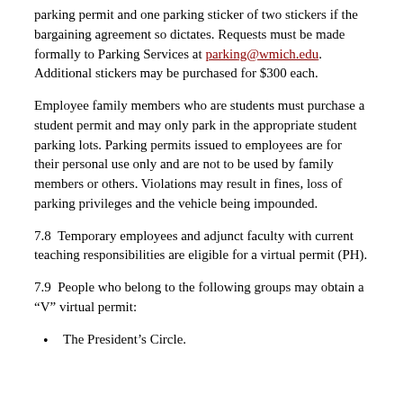parking permit and one parking sticker of two stickers if the bargaining agreement so dictates. Requests must be made formally to Parking Services at parking@wmich.edu. Additional stickers may be purchased for $300 each.
Employee family members who are students must purchase a student permit and may only park in the appropriate student parking lots. Parking permits issued to employees are for their personal use only and are not to be used by family members or others. Violations may result in fines, loss of parking privileges and the vehicle being impounded.
7.8  Temporary employees and adjunct faculty with current teaching responsibilities are eligible for a virtual permit (PH).
7.9  People who belong to the following groups may obtain a “V” virtual permit:
The President’s Circle.